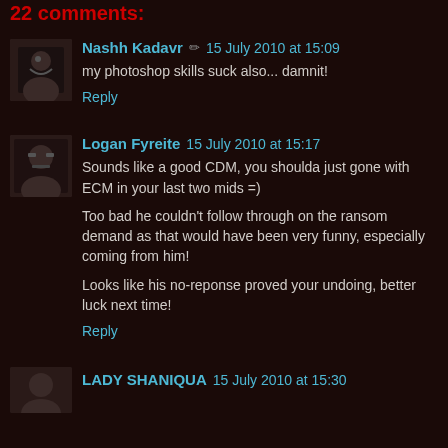22 comments:
Nashh Kadavr ✏ 15 July 2010 at 15:09
my photoshop skills suck also... damnit!
Reply
Logan Fyreite 15 July 2010 at 15:17
Sounds like a good CDM, you shoulda just gone with ECM in your last two mids =)
Too bad he couldn't follow through on the ransom demand as that would have been very funny, especially coming from him!
Looks like his no-reponse proved your undoing, better luck next time!
Reply
LADY SHANIQUA 15 July 2010 at 15:30